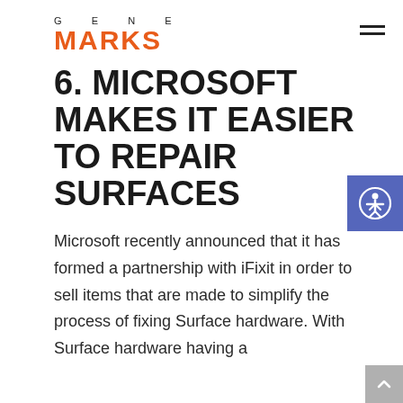GENE MARKS
6. MICROSOFT MAKES IT EASIER TO REPAIR SURFACES
Microsoft recently announced that it has formed a partnership with iFixit in order to sell items that are made to simplify the process of fixing Surface hardware. With Surface hardware having a